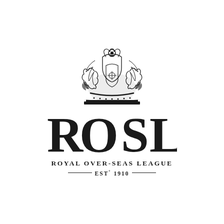[Figure (logo): Royal Over-Seas League (ROSL) logo. A detailed heraldic crest/coat of arms at the top, followed by the large bold letters 'ROSL' with an interlocking circular design on the O, then 'ROYAL OVER-SEAS LEAGUE' in spaced capitals, and 'EST° 1910' flanked by horizontal rules.]